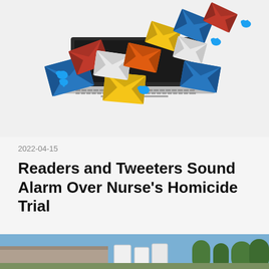[Figure (illustration): Illustration of a laptop with colorful email envelopes (red/orange, yellow/gold, blue, white/gray) and Twitter bird icons flying out of the screen in an arc pattern]
2022-04-15
Readers and Tweeters Sound Alarm Over Nurse’s Homicide Trial
[Figure (photo): Partial photograph at bottom of page showing an outdoor scene with trees and what appears to be signs or placards]